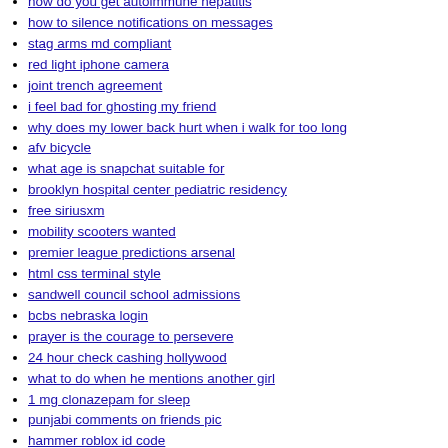how do you get autoimmune hepatitis
how to silence notifications on messages
stag arms md compliant
red light iphone camera
joint trench agreement
i feel bad for ghosting my friend
why does my lower back hurt when i walk for too long
afv bicycle
what age is snapchat suitable for
brooklyn hospital center pediatric residency
free siriusxm
mobility scooters wanted
premier league predictions arsenal
html css terminal style
sandwell council school admissions
bcbs nebraska login
prayer is the courage to persevere
24 hour check cashing hollywood
what to do when he mentions another girl
1 mg clonazepam for sleep
punjabi comments on friends pic
hammer roblox id code
boston whaler 250 conquest for sale
used corvette for sale baton rouge
athena and frederick fanfiction